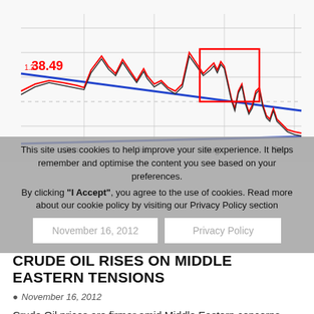[Figure (continuous-plot): Crude oil price line chart showing price movements from June to September 2012. Two lines (red and dark/gray) with horizontal gridlines, two blue diagonal trend lines forming a wedge/channel (one upper descending, one lower ascending), a red rectangle highlighting a region in September, and a price label '38.49' in red. X-axis shows months: Jun, Jul, Aug, Sep.]
This site uses cookies to help improve your site experience. It helps remember and optimise the content you see based on your preferences.
By clicking "I Accept", you agree to the use of cookies. Read more about our cookie policy by visiting our Privacy Policy section
CRUDE OIL RISES ON MIDDLE EASTERN TENSIONS
November 16, 2012
Crude Oil prices are firmer amid Middle Eastern concerns. Potential of further Israel conflict escalation and it's effect in the...